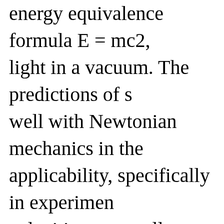energy equivalence formula E = mc2, light in a vacuum. The predictions of s well with Newtonian mechanics in the applicability, specifically in experimen velocities are small compared to the sp Special relativity reveals that c is not j certain phenomenon, namely the propa electromagnetic radiation (light)—but of ...